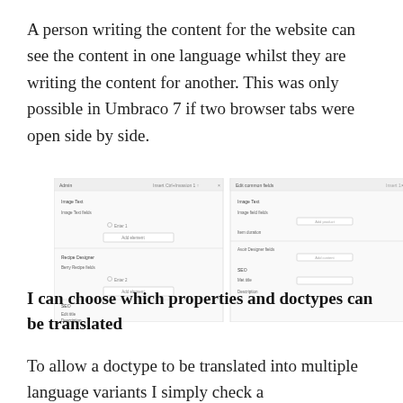A person writing the content for the website can see the content in one language whilst they are writing the content for another. This was only possible in Umbraco 7 if two browser tabs were open side by side.
[Figure (screenshot): Screenshot showing a split-panel CMS interface (Umbraco) with two panels side by side: Admin panel on the left and another language variant on the right, both showing Image Text, Image Text fields, Recipe Designer, SEO and Description fields.]
I can choose which properties and doctypes can be translated
To allow a doctype to be translated into multiple language variants I simply check a